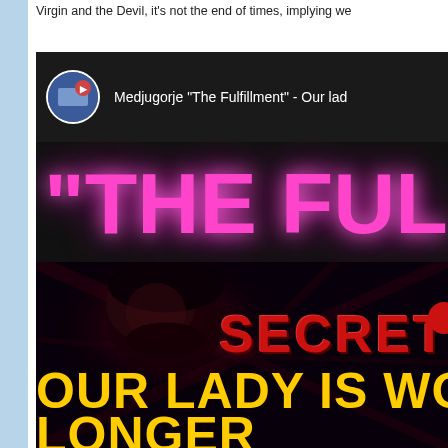Virgin and the Devil, it's not the end of times, implying we
[Figure (screenshot): Screenshot of a YouTube video thumbnail/player for 'Medjugorje The Fulfillment - Our Lady...' showing a dark dramatic image with a man's face lit in red, text 'THE FUL' in pink neon letters, 'SECRET' in red letters, and 'OUR LADY IS WO[RKING NO]LONGER' in yellow bold letters at the bottom.]